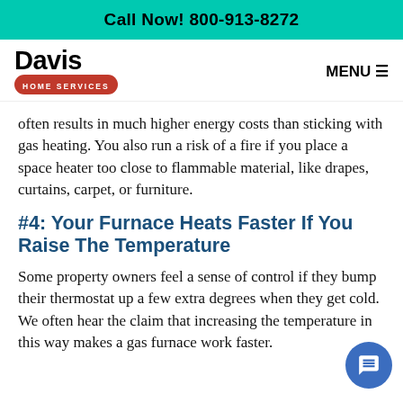Call Now! 800-913-8272
[Figure (logo): Davis Home Services logo with red pill-shaped badge]
MENU ☰
often results in much higher energy costs than sticking with gas heating. You also run a risk of a fire if you place a space heater too close to flammable material, like drapes, curtains, carpet, or furniture.
#4: Your Furnace Heats Faster If You Raise The Temperature
Some property owners feel a sense of control if they bump their thermostat up a few extra degrees when they get cold. We often hear the claim that increasing the temperature in this way makes a gas furnace work faster.